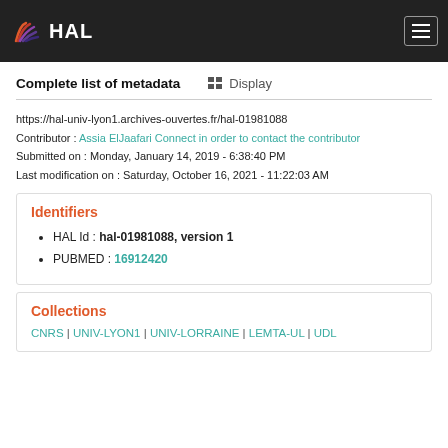HAL
Complete list of metadata
https://hal-univ-lyon1.archives-ouvertes.fr/hal-01981088
Contributor : Assia ElJaafari Connect in order to contact the contributor
Submitted on : Monday, January 14, 2019 - 6:38:40 PM
Last modification on : Saturday, October 16, 2021 - 11:22:03 AM
Identifiers
HAL Id : hal-01981088, version 1
PUBMED : 16912420
Collections
CNRS | UNIV-LYON1 | UNIV-LORRAINE | LEMTA-UL | UDL